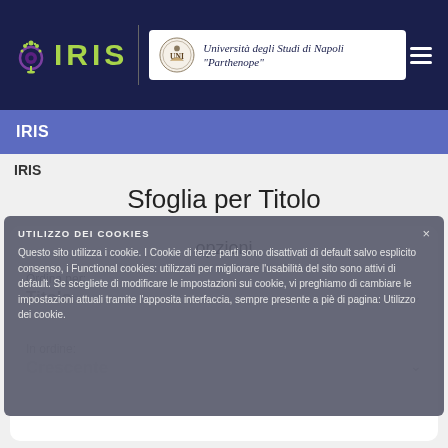IRIS | Università degli Studi di Napoli "Parthenope"
IRIS
IRIS
Sfoglia per Titolo
opzioni
UTILIZZO DEI COOKIES
Questo sito utilizza i cookie. I Cookie di terze parti sono disattivati di default salvo esplicito consenso, i Functional cookies: utilizzati per migliorare l'usabilità del sito sono attivi di default. Se scegliete di modificare le impostazioni sui cookie, vi preghiamo di cambiare le impostazioni attuali tramite l'apposita interfaccia, sempre presente a piè di pagina: Utilizzo dei cookie.
Ordina per:
Titolo
In ordine:
Crescente